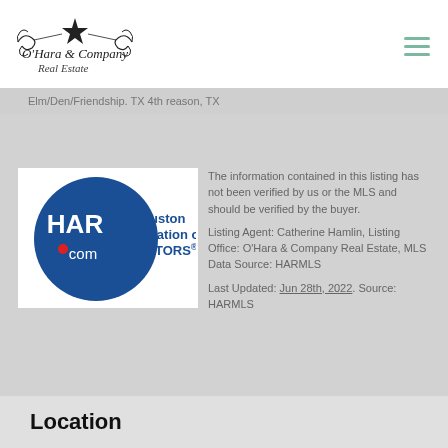[Figure (logo): O'Hara & Company Real Estate logo with decorative star and scrollwork]
Elm/Den/Friendship. TX 4th reason, TX
[Figure (logo): HAR.com Houston Association of REALTORS logo - blue circle with HAR.com text and company name]
The information contained in this listing has not been verified by us or the MLS and should be verified by the buyer.
Listing Agent: Catherine Hamlin, Listing Office: O'Hara & Company Real Estate, MLS Data Source: HARMLS
Last Updated: Jun 28th, 2022. Source: HARMLS
Location